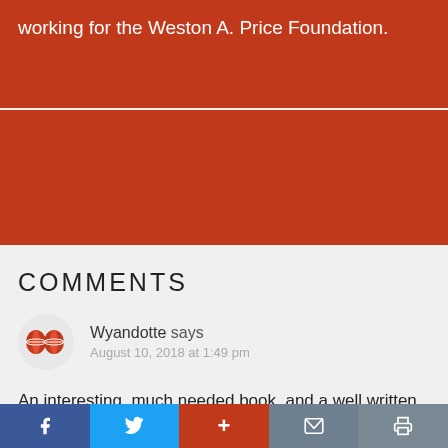working for the Weston A. Price Foundation.
[Figure (other): Red banner block (continuation from previous section)]
COMMENTS
[Figure (other): Avatar icon with two globe/world images in a circle]
Wyandotte says
August 10, 2018 at 1:49 pm
An interesting, much needed book, and a well written review, amusing in places. There are in my opinion 2 things that may have been mentioned in the book (I'll have to read it for myself) but are not in the review, as follows, which I think are the 2 major factors
[Figure (other): Social share bar with Facebook, Twitter, Plus, Mail, and Print buttons]